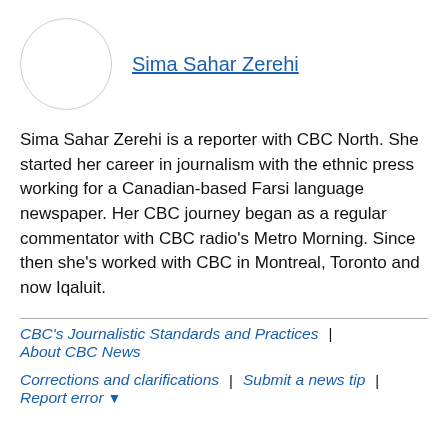[Figure (photo): Circular avatar/profile photo placeholder with a small image icon in the top-left corner]
Sima Sahar Zerehi
Sima Sahar Zerehi is a reporter with CBC North. She started her career in journalism with the ethnic press working for a Canadian-based Farsi language newspaper. Her CBC journey began as a regular commentator with CBC radio's Metro Morning. Since then she's worked with CBC in Montreal, Toronto and now Iqaluit.
CBC's Journalistic Standards and Practices | About CBC News
Corrections and clarifications | Submit a news tip | Report error ▾